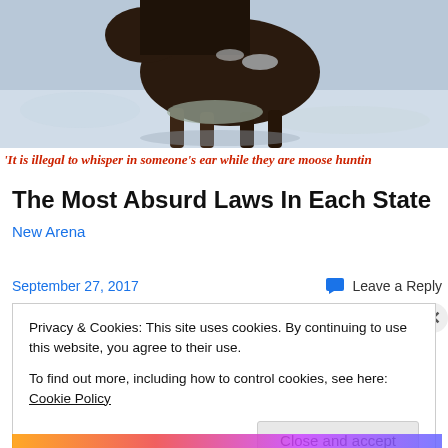[Figure (photo): A moose walking in snow, photographed from the side. Dark brown body, snow-covered ground, snowy background.]
'It is illegal to whisper in someone's ear while they are moose huntin
The Most Absurd Laws In Each State
New Arena
September 27, 2017
Leave a Reply
Privacy & Cookies: This site uses cookies. By continuing to use this website, you agree to their use.
To find out more, including how to control cookies, see here: Cookie Policy